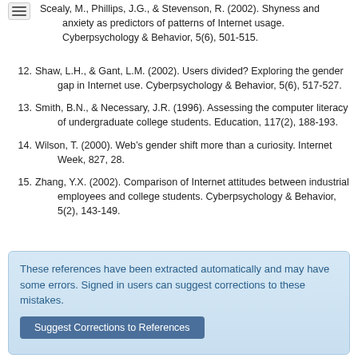Scealy, M., Phillips, J.G., & Stevenson, R. (2002). Shyness and anxiety as predictors of patterns of Internet usage. Cyberpsychology & Behavior, 5(6), 501-515.
12. Shaw, L.H., & Gant, L.M. (2002). Users divided? Exploring the gender gap in Internet use. Cyberpsychology & Behavior, 5(6), 517-527.
13. Smith, B.N., & Necessary, J.R. (1996). Assessing the computer literacy of undergraduate college students. Education, 117(2), 188-193.
14. Wilson, T. (2000). Web’s gender shift more than a curiosity. Internet Week, 827, 28.
15. Zhang, Y.X. (2002). Comparison of Internet attitudes between industrial employees and college students. Cyberpsychology & Behavior, 5(2), 143-149.
These references have been extracted automatically and may have some errors. Signed in users can suggest corrections to these mistakes.